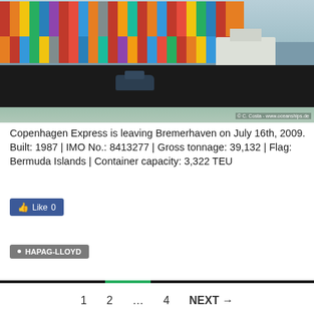[Figure (photo): Container ship Copenhagen Express leaving Bremerhaven on water, with a tugboat alongside. The large black-hulled vessel is stacked with colorful shipping containers. Copyright watermark: © C. Costa - www.oceanships.de]
Copenhagen Express is leaving Bremerhaven on July 16th, 2009.
Built: 1987 | IMO No.: 8413277 | Gross tonnage: 39,132 | Flag: Bermuda Islands | Container capacity: 3,322 TEU
Like 0
HAPAG-LLOYD
1   2   ...   4   NEXT →